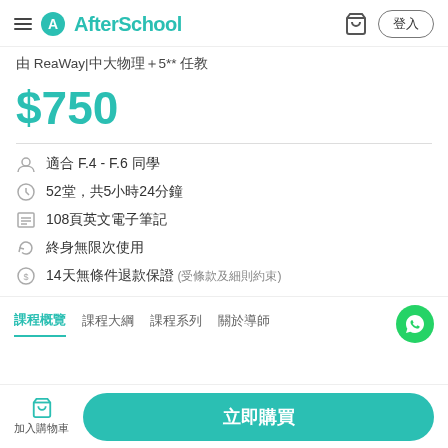AfterSchool
由 ReaWay|中大物理＋5** 任教
$750
適合 F.4 - F.6 同學
52堂，共5小時24分鐘
108頁英文電子筆記
終身無限次使用
14天無條件退款保證 (受條款及細則約束)
課程概覽　課程大綱　課程系列　關於導師
加入購物車　立即購買